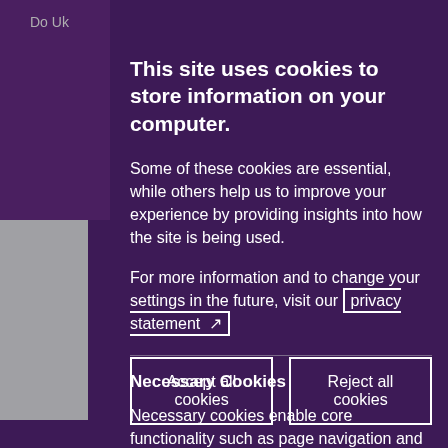Do Uk
This site uses cookies to store information on your computer.
Some of these cookies are essential, while others help us to improve your experience by providing insights into how the site is being used.
For more information and to change your settings in the future, visit our privacy statement ↗
Accept all cookies | Reject all cookies
Necessary Cookies
Necessary cookies enable core functionality such as page navigation and access to secure areas.